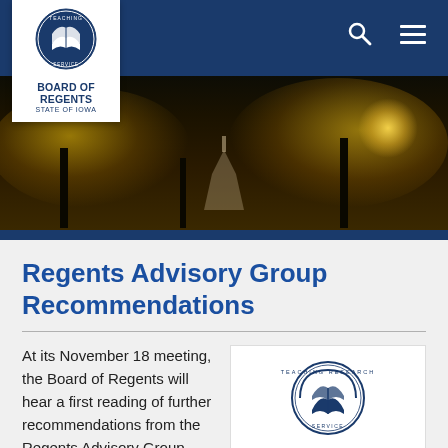[Figure (logo): Board of Regents State of Iowa logo in white box in navigation bar]
[Figure (photo): Night photo of university campus with illuminated trees and building dome]
Regents Advisory Group Recommendations
At its November 18 meeting, the Board of Regents will hear a first reading of further recommendations from the Regents Advisory Group, established last April and charged with finding administrative and academic collaborations and
[Figure (logo): Board of Regents State of Iowa logo on white card background]